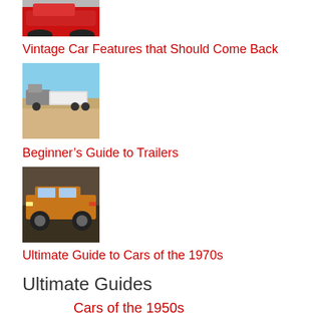[Figure (photo): Partial view of a red sports car, top portion cut off]
Vintage Car Features that Should Come Back
[Figure (photo): A truck with a trailer in a desert landscape]
Beginner's Guide to Trailers
[Figure (photo): An orange/brown vintage car from the 1970s]
Ultimate Guide to Cars of the 1970s
Ultimate Guides
Cars of the 1950s
Cars of the 1960s